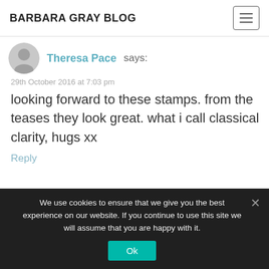BARBARA GRAY BLOG
Theresa Pace says:
29th October 2016 at 7:03 pm
looking forward to these stamps. from the teases they look great. what i call classical clarity, hugs xx
Reply
We use cookies to ensure that we give you the best experience on our website. If you continue to use this site we will assume that you are happy with it.